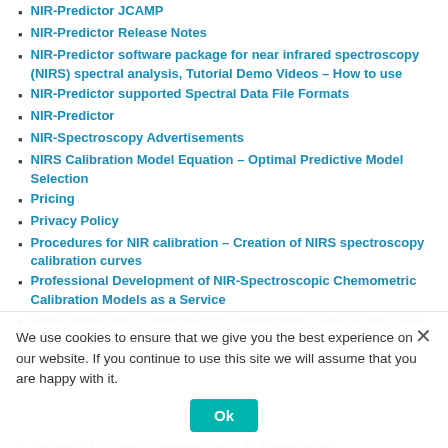NIR-Predictor JCAMP
NIR-Predictor Release Notes
NIR-Predictor software package for near infrared spectroscopy (NIRS) spectral analysis, Tutorial Demo Videos – How to use
NIR-Predictor supported Spectral Data File Formats
NIR-Predictor
NIR-Spectroscopy Advertisements
NIRS Calibration Model Equation – Optimal Predictive Model Selection
Pricing
Privacy Policy
Procedures for NIR calibration – Creation of NIRS spectroscopy calibration curves
Professional Development of NIR-Spectroscopic Chemometric Calibration Models as a Service
Professional NIR-Spectroscopy Chemometric Data Science as a Service
Software License Agreement with IP-Anonymizer
Software License Agreement
Spectroscopy and Chemometrics News Weekly #13, 2019
We use cookies to ensure that we give you the best experience on our website. If you continue to use this site we will assume that you are happy with it.